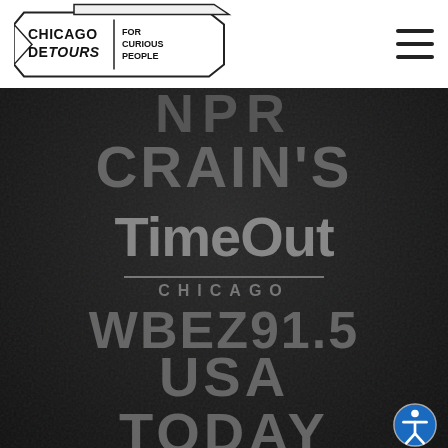[Figure (logo): Chicago DeTours logo — 'FOR CURIOUS PEOPLE' banner shape, black and white, with hamburger menu icon on header bar]
[Figure (logo): NPR logo text partially visible, grey on dark textured background]
[Figure (logo): CRAIN'S logo in large bold grey letters on dark background]
[Figure (logo): Time Out Chicago logo — 'TimeOut' in rounded bold type with 'CHICAGO' subtitle, grey on dark background]
[Figure (logo): WBEZ 91.5 logo in large bold grey letters on dark background]
[Figure (logo): USA TODAY logo in large bold grey letters on dark background, partially cut off]
[Figure (logo): Accessibility icon — circle with figure/person symbol, bottom right corner]